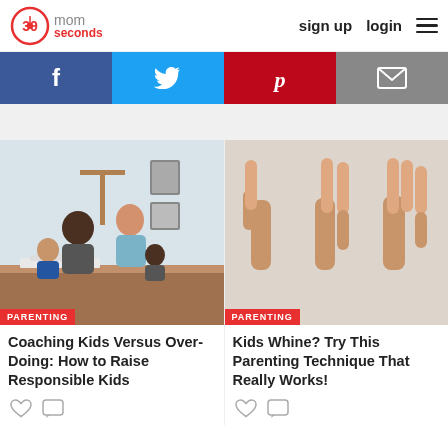30 seconds mom  sign up  login
[Figure (screenshot): Social media share buttons: Facebook, Twitter, Pinterest, Email]
[Figure (photo): Two parents helping two young children with homework at a table. Category label: PARENTING]
Coaching Kids Versus Over-Doing: How to Raise Responsible Kids
[Figure (photo): Three hands showing 1, 2, and 3 fingers respectively against white background. Category label: PARENTING]
Kids Whine? Try This Parenting Technique That Really Works!